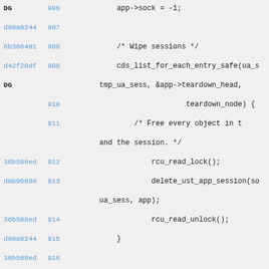[Figure (screenshot): Source code diff view showing lines 906-919 with commit hashes, line numbers, and C code content including socket assignment, session wiping loop, rcu locks, and cleanup pushes.]